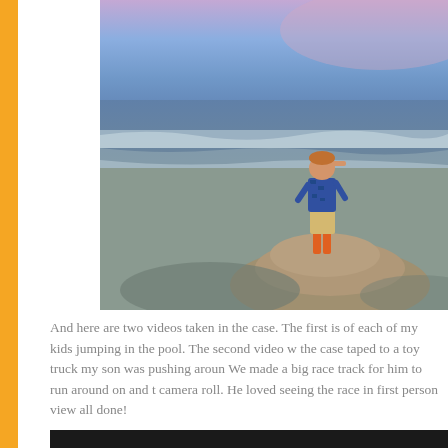[Figure (photo): A child wearing a patterned shirt and orange rubber boots stands on a mound of sand at the beach, looking out toward the ocean waves. The sky shows a purple and blue dusk/twilight gradient.]
And here are two videos taken in the case. The first is of each of my kids jumping in the pool. The second video w the case taped to a toy truck my son was pushing aroun We made a big race track for him to run around on and t camera roll. He loved seeing the race in first person view all done!
[Figure (screenshot): A dark/black video player or video thumbnail area at the bottom of the page.]